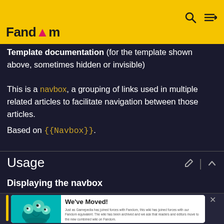Fandom
Template documentation (for the template shown above, sometimes hidden or invisible) This is a navbox, a grouping of links used in multiple related articles to facilitate navigation between those articles.
Based on {{Navbox}}.
Usage
Displaying the navbox
[Figure (screenshot): A popup card showing 'We've Moved!' with a teal background illustration of a creature on the left, and text explaining that the wiki has joined forces with Fandom, plus a 'GO TO NEW WIKI' button.]